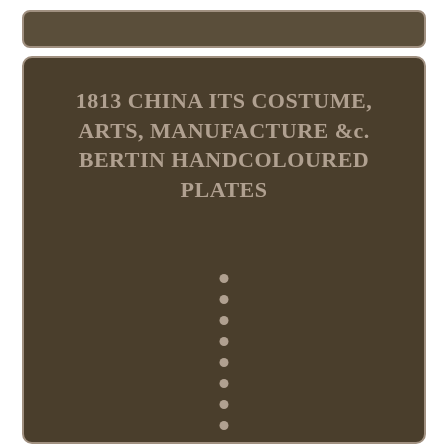1813 CHINA ITS COSTUME, ARTS, MANUFACTURE &c. BERTIN HANDCOLOURED PLATES